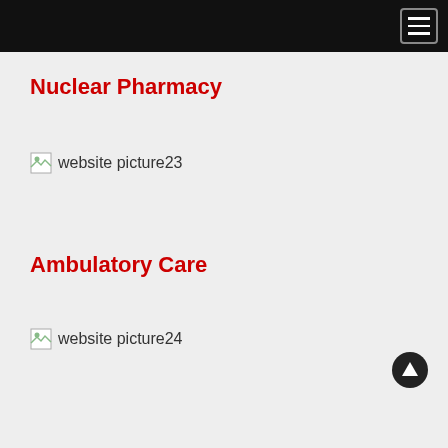Nuclear Pharmacy
[Figure (other): Broken image placeholder labeled 'website picture23']
Ambulatory Care
[Figure (other): Broken image placeholder labeled 'website picture24']